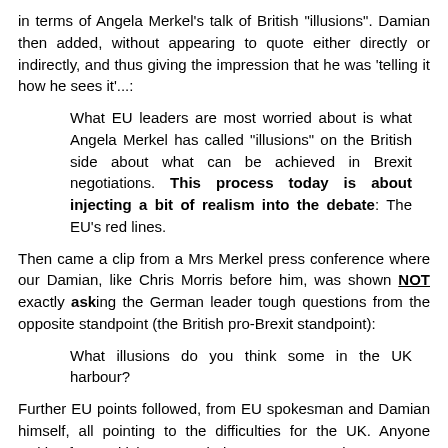in terms of Angela Merkel's talk of British "illusions". Damian then added, without appearing to quote either directly or indirectly, and thus giving the impression that he was 'telling it how he sees it'...:
What EU leaders are most worried about is what Angela Merkel has called "illusions" on the British side about what can be achieved in Brexit negotiations. This process today is about injecting a bit of realism into the debate: The EU's red lines.
Then came a clip from a Mrs Merkel press conference where our Damian, like Chris Morris before him, was shown NOT exactly asking the German leader tough questions from the opposite standpoint (the British pro-Brexit standpoint):
What illusions do you think some in the UK harbour?
Further EU points followed, from EU spokesman and Damian himself, all pointing to the difficulties for the UK. Anyone waiting for a British pro-Brexit riposte or some points